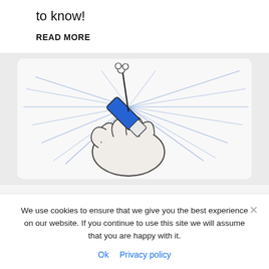to know!
READ MORE
[Figure (illustration): Hand holding a pen-like device (possibly a medical injector or stylus) with blue body, with radiating lines suggesting motion or energy coming from the tip. Black and white line art with blue highlight on the device body.]
We use cookies to ensure that we give you the best experience on our website. If you continue to use this site we will assume that you are happy with it.
Ok  Privacy policy